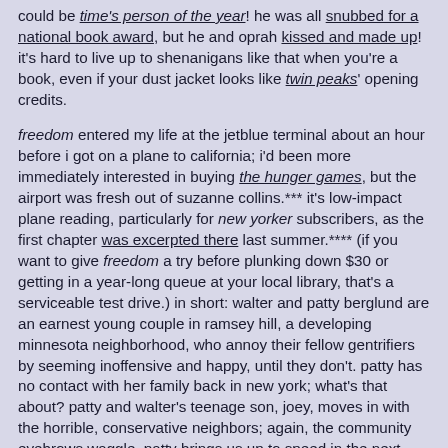could be time's person of the year! he was all snubbed for a national book award, but he and oprah kissed and made up! it's hard to live up to shenanigans like that when you're a book, even if your dust jacket looks like twin peaks' opening credits.
freedom entered my life at the jetblue terminal about an hour before i got on a plane to california; i'd been more immediately interested in buying the hunger games, but the airport was fresh out of suzanne collins.*** it's low-impact plane reading, particularly for new yorker subscribers, as the first chapter was excerpted there last summer.**** (if you want to give freedom a try before plunking down $30 or getting in a year-long queue at your local library, that's a serviceable test drive.) in short: walter and patty berglund are an earnest young couple in ramsey hill, a developing minnesota neighborhood, who annoy their fellow gentrifiers by seeming inoffensive and happy, until they don't. patty has no contact with her family back in new york; what's that about? patty and walter's teenage son, joey, moves in with the horrible, conservative neighbors; again, the community eyebrows waggle. patty brings us up to speed in the next portion of the book, a memoir ("mistakes were made") she has penned at her therapist's suggestion. we get a more substantive look at how patty became a brittle hausfrau, but there's no net gain here: while franzen tells a convincing story of a somewhat aimless jock who goes to college with interesting people, falls for a rake and marries his best friend, and develops a personality a few decades too late, we're supposed to be